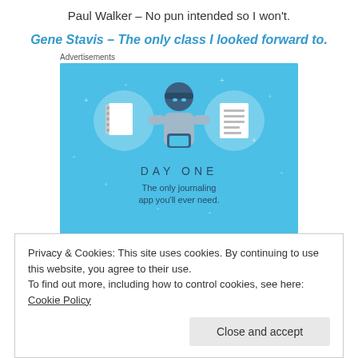Paul Walker – No pun intended so I won't.
Gene Stavis – The only class I looked forward to.
Advertisements
[Figure (illustration): Day One journaling app advertisement with blue background, showing icons of a notebook, a person holding a phone, and a document, with text 'DAY ONE – The only journaling app you'll ever need.']
Privacy & Cookies: This site uses cookies. By continuing to use this website, you agree to their use.
To find out more, including how to control cookies, see here: Cookie Policy
Close and accept